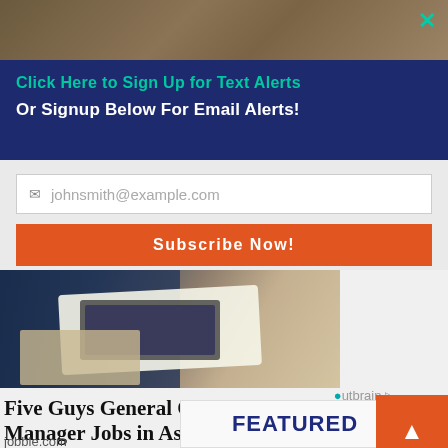[Figure (photo): Hands holding a tablet with charts, person in business attire at desk with papers and computer monitor]
Click Here to Sign Up for Text Alerts
Or Signup Below For Email Alerts!
johnsmith@example.com (email input placeholder)
Subscribe Now!
[Figure (photo): Business person using tablet with financial charts at a desk]
Five Guys General Operational Manager Jobs in Ashburn Apply Now
jobble.com
Outbrain
FEATURED STORIES